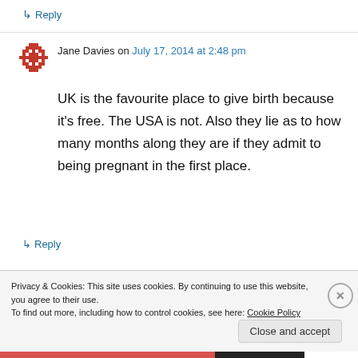↳ Reply
Jane Davies on July 17, 2014 at 2:48 pm
UK is the favourite place to give birth because it's free. The USA is not. Also they lie as to how many months along they are if they admit to being pregnant in the first place.
↳ Reply
Privacy & Cookies: This site uses cookies. By continuing to use this website, you agree to their use.
To find out more, including how to control cookies, see here: Cookie Policy
Close and accept